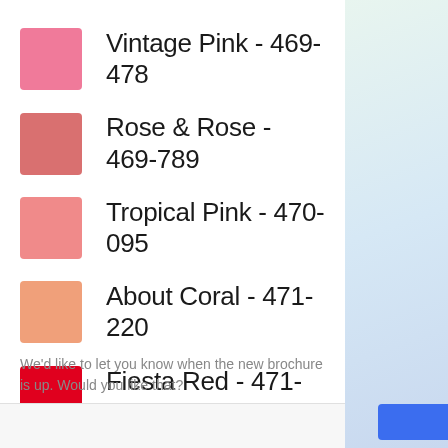Vintage Pink - 469-478
Rose & Rose - 469-789
Tropical Pink - 470-095
About Coral - 471-220
Fiesta Red - 471-732
Love Me Red - 471-747
We'd like to let you know when the new brochure is up. Would you like that?